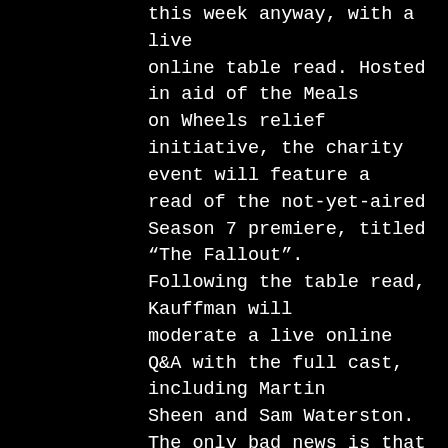this week anyway, with a live online table read. Hosted in aid of the Meals on Wheels relief initiative, the charity event will feature a read of the not-yet-aired Season 7 premiere, titled “The Fallout”. Following the table read, Kauffman will moderate a live online Q&A with the full cast, including Martin Sheen and Sam Waterston. The only bad news is that the whole thing goes down at 5pm PST, which means it will take place at 1am UK time. For those staying up, it will be streaming on Netflix’s Netflix Is a Joke YouTube channel – and, as we understand it, will also be available on-demand after the event through YouTube.